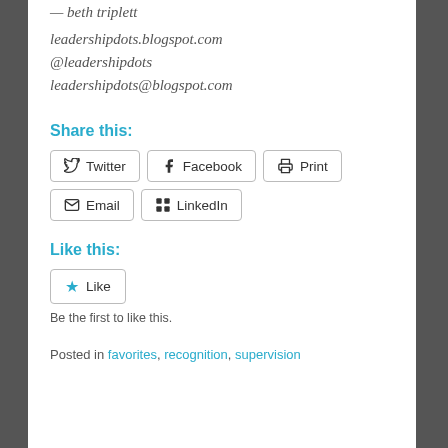— beth triplett
leadershipdots.blogspot.com
@leadershipdots
leadershipdots@blogspot.com
Share this:
Twitter  Facebook  Print  Email  LinkedIn
Like this:
Like
Be the first to like this.
Posted in favorites, recognition, supervision